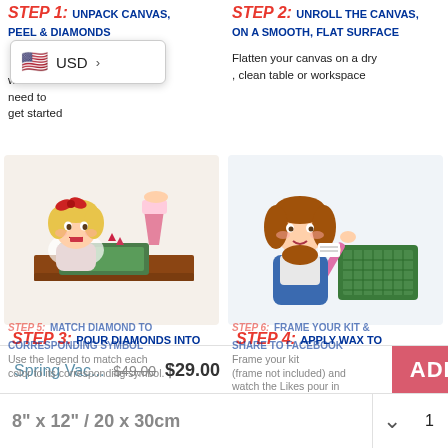STEP 1: UNPACK CANVAS, PEEL & DIAMONDS
with need to get started
STEP 2: UNROLL THE CANVAS, ON A SMOOTH, FLAT SURFACE
Flatten your canvas on a dry , clean table or workspace
[Figure (illustration): Girl with red bow excited watching diamonds being poured onto green canvas on brown table]
[Figure (illustration): Girl with brown hair holding diamond pen with green grooved tray]
STEP 3: POUR DIAMONDS INTO GROOVED TRAY
Pour diamonds into tray and shake lightly so diamonds fall into grooves
STEP 4: APPLY WAX TO DIAMOND PEN
Apply a tiny bit of wax to the tip of the Diamond Pen. Pick up a diamond.
[Figure (illustration): Girl with red bow smiling and placing diamond on canvas with pink pen]
[Figure (illustration): Mother and daughter with red bow smiling holding completed diamond painting kit]
Spring Vac... $49.00 $29.00
ADD TO CART
STEP 5: MATCH DIAMOND TO CORRESPONDING SYMBOL
Use the legend to match each color to its corresponding symbol.
STEP 6: FRAME YOUR KIT & SHARE TO FACEBOOK
Frame your kit (frame not included) and watch the Likes pour in
8" x 12" / 20 x 30cm
1